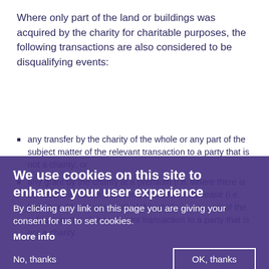Where only part of the land or buildings was acquired by the charity for charitable purposes, the following transactions are also considered to be disqualifying events:
any transfer by the charity of the whole or any part of the subject matter of the relevant transaction to a party that is not a charity; or
any grant by the charity at a premium (i.e. where there is consideration other than rent) of a 999-rental lease (i.e. less than £1,000 per year) of the whole or any part of the subject matter of the relevant transaction to a party that is not a charity.
We use cookies on this site to enhance your user experience
By clicking any link on this page you are giving your consent for us to set cookies.
More info